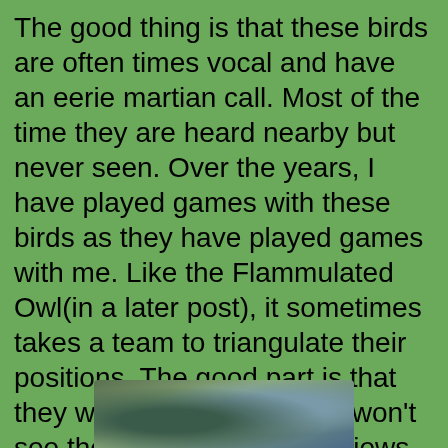The good thing is that these birds are often times vocal and have an eerie martian call. Most of the time they are heard nearby but never seen.  Over the years, I have played games with these birds as they have played games with me.  Like the Flammulated Owl(in a later post), it sometimes takes a team to triangulate their positions.  The good part is that they will freeze hoping you won't see them.  If you get great views of this bird, consider yourself blessed by the bird gods.
[Figure (photo): Partial photo of a bird visible at the bottom of the page]